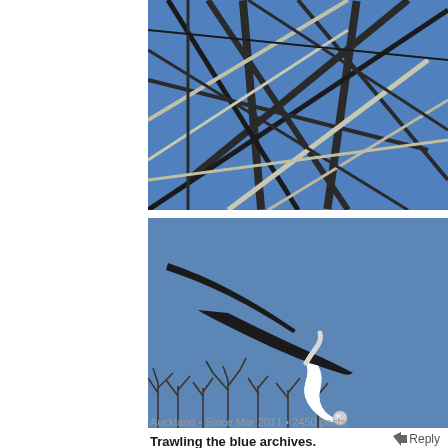[Figure (photo): Close-up photograph looking up at a steel lattice electricity pylon/tower against a clear blue sky, showing the diagonal and cross beams in dark and light metal]
[Figure (photo): Photograph of a large outdoor abstract metal sculpture against a clear blue sky with bare winter trees at the base. The sculpture has two dark blade-like curved elements and a white curving stem with a small sphere, resembling a giant needle or dragonfly form.]
Trawling the blue archives.
Auckland • Since Mar 2011 • 2450 posts
Reply